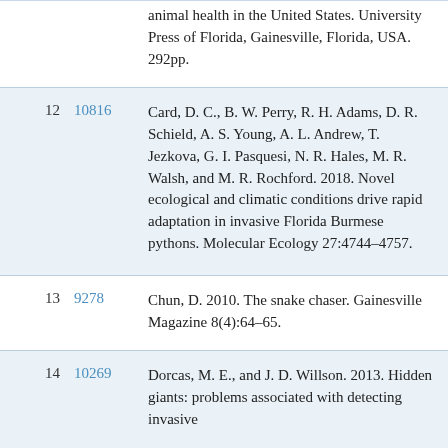| # | ID | Reference |
| --- | --- | --- |
|  |  | animal health in the United States. University Press of Florida, Gainesville, Florida, USA. 292pp. |
| 12 | 10816 | Card, D. C., B. W. Perry, R. H. Adams, D. R. Schield, A. S. Young, A. L. Andrew, T. Jezkova, G. I. Pasquesi, N. R. Hales, M. R. Walsh, and M. R. Rochford. 2018. Novel ecological and climatic conditions drive rapid adaptation in invasive Florida Burmese pythons. Molecular Ecology 27:4744–4757. |
| 13 | 9278 | Chun, D. 2010. The snake chaser. Gainesville Magazine 8(4):64–65. |
| 14 | 10269 | Dorcas, M. E., and J. D. Willson. 2013. Hidden giants: problems associated with detecting invasive... |